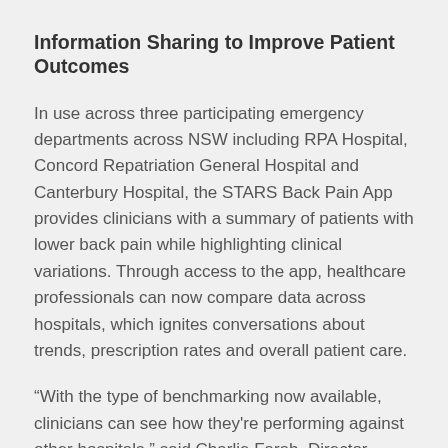Information Sharing to Improve Patient Outcomes
In use across three participating emergency departments across NSW including RPA Hospital, Concord Repatriation General Hospital and Canterbury Hospital, the STARS Back Pain App provides clinicians with a summary of patients with lower back pain while highlighting clinical variations. Through access to the app, healthcare professionals can now compare data across hospitals, which ignites conversations about trends, prescription rates and overall patient care.
“With the type of benchmarking now available, clinicians can see how they're performing against other hospitals,” said Charlie Farah, Director, Healthcare & Public Sector APAC at Qlik. “This leads to changes in